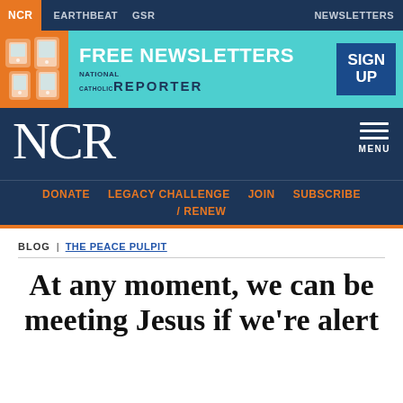NCR | EARTHBEAT  GSR  NEWSLETTERS
[Figure (infographic): Banner advertisement: FREE NEWSLETTERS - SIGN UP - National Catholic Reporter logo on teal background with illustrated hands holding devices on orange left panel]
NCR
MENU
DONATE  LEGACY CHALLENGE  JOIN  SUBSCRIBE / RENEW
BLOG | THE PEACE PULPIT
At any moment, we can be meeting Jesus if we're alert